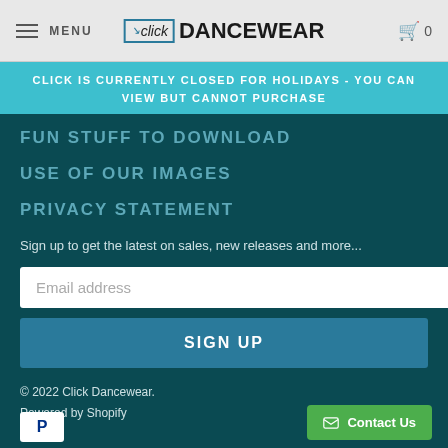MENU | click DANCEWEAR | 0
CLICK IS CURRENTLY CLOSED FOR HOLIDAYS - YOU CAN VIEW BUT CANNOT PURCHASE
FUN STUFF TO DOWNLOAD
USE OF OUR IMAGES
PRIVACY STATEMENT
Sign up to get the latest on sales, new releases and more...
Email address
SIGN UP
© 2022 Click Dancewear. Powered by Shopify
Contact Us